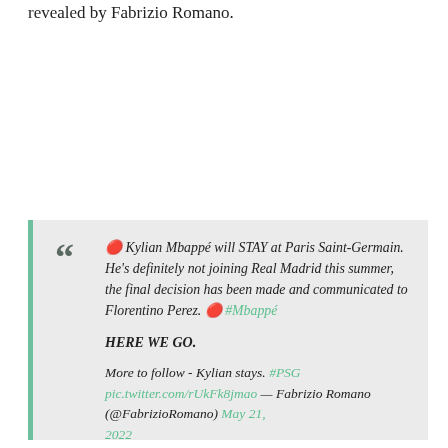revealed by Fabrizio Romano.
" 🔴 Kylian Mbappé will STAY at Paris Saint-Germain. He's definitely not joining Real Madrid this summer, the final decision has been made and communicated to Florentino Perez. 🔴 #Mbappé

HERE WE GO.

More to follow - Kylian stays. #PSG pic.twitter.com/rUkFk8jmao — Fabrizio Romano (@FabrizioRomano) May 21, 2022